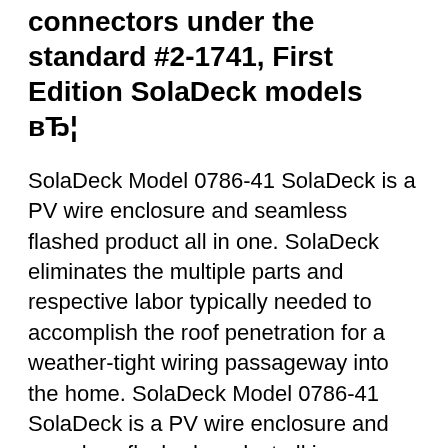connectors under the standard #2-1741, First Edition SolaDeck models вЂ¦
SolaDeck Model 0786-41 SolaDeck is a PV wire enclosure and seamless flashed product all in one. SolaDeck eliminates the multiple parts and respective labor typically needed to accomplish the roof penetration for a weather-tight wiring passageway into the home. SolaDeck Model 0786-41 SolaDeck is a PV wire enclosure and seamless flashed product all in one. SolaDeck eliminates the multiple parts and respective labor typically needed to accomplish the roof penetration for a weather-tight wiring passageway into the home.
…connects and installs the weathertight…